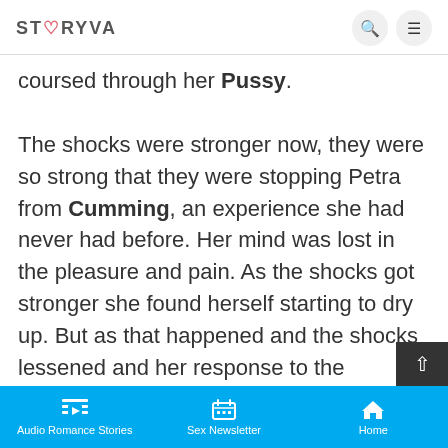STORYVA
coursed through her Pussy.

The shocks were stronger now, they were so strong that they were stopping Petra from Cumming, an experience she had never had before. Her mind was lost in the pleasure and pain. As the shocks got stronger she found herself starting to dry up. But as that happened and the shocks lessened and her response to the vibrators got stronger and she got wetter. Petra could feel herself getting so close to Orgasm only to have her dripping Pussy trigger another electric shock. Petra screamed in
Audio Romance Stories | Sex Newsletter | Home